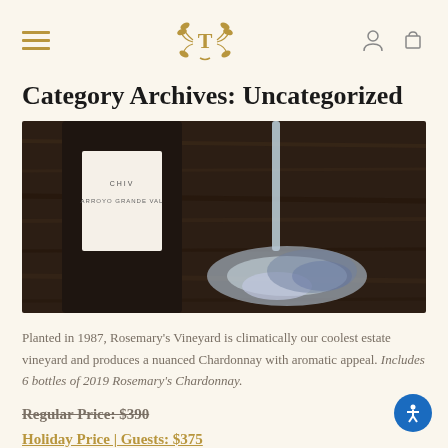Category Archives: Uncategorized — Navigation header with hamburger menu, T logo, user and cart icons
Category Archives: Uncategorized
[Figure (photo): Close-up photo of a dark wine bottle labeled 'Arroyo Grande' on a wooden surface beside a clear wine glass stem and base]
Planted in 1987, Rosemary's Vineyard is climatically our coolest estate vineyard and produces a nuanced Chardonnay with aromatic appeal. Includes 6 bottles of 2019 Rosemary's Chardonnay.
Regular Price: $390
Holiday Price | Guests: $375